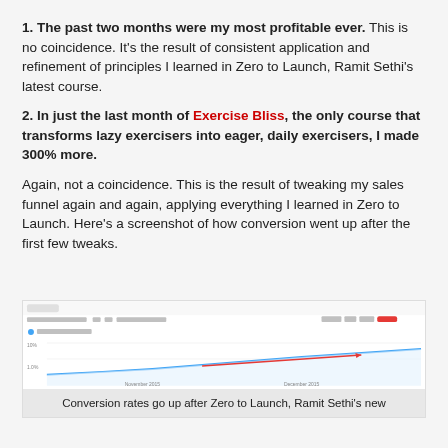1. The past two months were my most profitable ever. This is no coincidence. It's the result of consistent application and refinement of principles I learned in Zero to Launch, Ramit Sethi's latest course.
2. In just the last month of Exercise Bliss, the only course that transforms lazy exercisers into eager, daily exercisers, I made 300% more.
Again, not a coincidence. This is the result of tweaking my sales funnel again and again, applying everything I learned in Zero to Launch. Here's a screenshot of how conversion went up after the first few tweaks.
[Figure (screenshot): A Google Analytics screenshot showing Goal Conversion Rate rising over time from November 2015 to December 2015, with a blue area chart trending upward and a red arrow annotation highlighting the increase.]
Conversion rates go up after Zero to Launch, Ramit Sethi's new